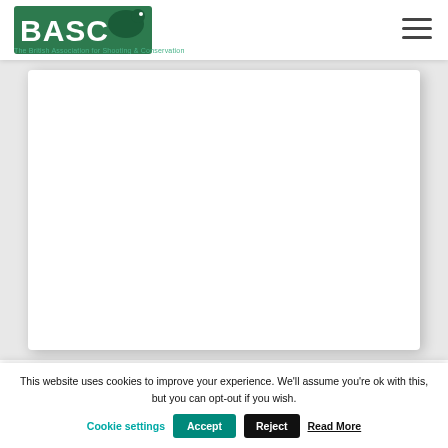BASC – The British Association for Shooting & Conservation
[Figure (screenshot): White card area representing a content placeholder on a BASC website page]
- LATEST NEWS
This website uses cookies to improve your experience. We'll assume you're ok with this, but you can opt-out if you wish. Cookie settings | Accept | Reject | Read More